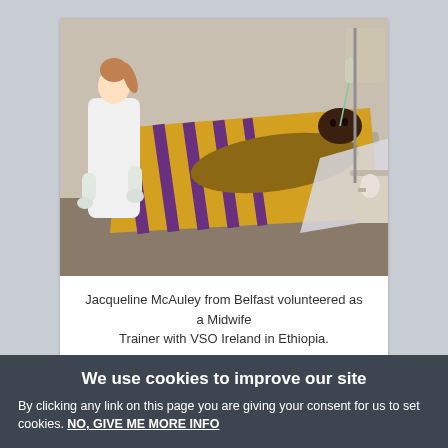[Figure (photo): A woman in a white lab coat and gloves (Jacqueline McAuley, midwife trainer) examines or assists a patient lying on a hospital bed covered with a colorful blanket in Ethiopia. Medical equipment visible in the background.]
Jacqueline McAuley from Belfast volunteered as a Midwife Trainer with VSO Ireland in Ethiopia.
Typical tasks might include:
We use cookies to improve our site
By clicking any link on this page you are giving your consent for us to set cookies. NO, GIVE ME MORE INFO